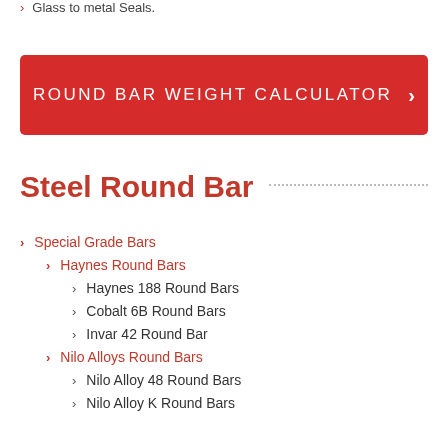Glass to metal Seals.
[Figure (other): Red button labeled ROUND BAR WEIGHT CALCULATOR with right arrow chevron]
Steel Round Bar
Special Grade Bars
Haynes Round Bars
Haynes 188 Round Bars
Cobalt 6B Round Bars
Invar 42 Round Bar
Nilo Alloys Round Bars
Nilo Alloy 48 Round Bars
Nilo Alloy K Round Bars